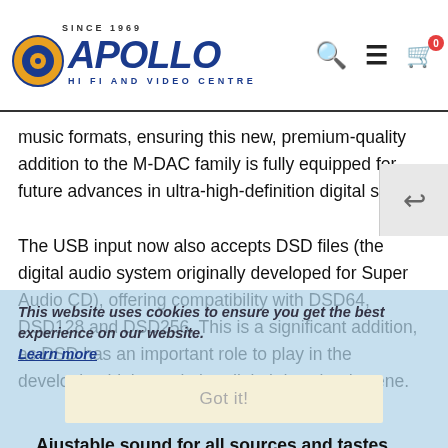SINCE 1969 | APOLLO HI FI AND VIDEO CENTRE
music formats, ensuring this new, premium-quality addition to the M-DAC family is fully equipped for future advances in ultra-high-definition digital sound.
The USB input now also accepts DSD files (the digital audio system originally developed for Super Audio CD), offering compatibility with DSD64, DSD128 and DSD256. This is a significant addition, as DSD has an important role to play in the developing high-resolution digital download scene.
This website uses cookies to ensure you get the best experience on our website. Learn more
Got it!
Ajustable sound for all sources and tastes
As digital audio technology has progressed, the